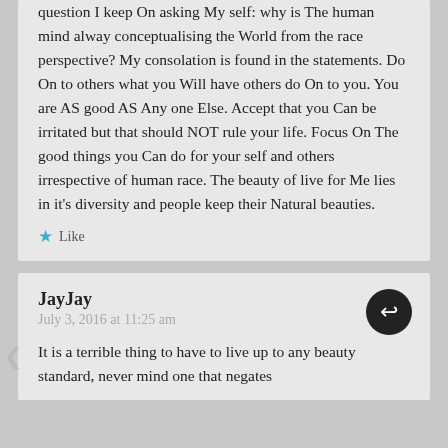question I keep On asking My self: why is The human mind alway conceptualising the World from the race perspective? My consolation is found in the statements. Do On to others what you Will have others do On to you. You are AS good AS Any one Else. Accept that you Can be irritated but that should NOT rule your life. Focus On The good things you Can do for your self and others irrespective of human race. The beauty of live for Me lies in it's diversity and people keep their Natural beauties.
Like
JayJay
July 3, 2016 at 11:25 am
It is a terrible thing to have to live up to any beauty standard, never mind one that negates